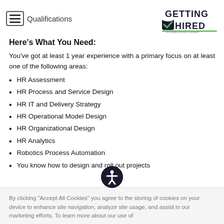Qualifications
[Figure (logo): Getting Hired logo - An Allegis Group Company]
Here's What You Need:
You've got at least 1 year experience with a primary focus on at least one of the following areas:
HR Assessment
HR Process and Service Design
HR IT and Delivery Strategy
HR Operational Model Design
HR Organizational Design
HR Analytics
Robotics Process Automation
You know how to design and roll out projects
By clicking “Accept All Cookies” you agree to the storing of cookies on your device to enhance site navigation, analyze site usage, and assist in our marketing efforts. To learn more about our use of